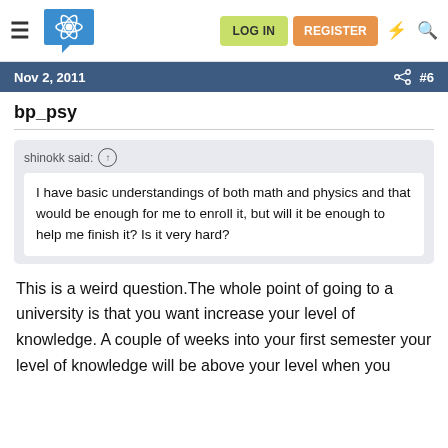LOG IN | REGISTER
Nov 2, 2011  #6
bp_psy
shinokk said: ↑
I have basic understandings of both math and physics and that would be enough for me to enroll it, but will it be enough to help me finish it? Is it very hard?
This is a weird question.The whole point of going to a university is that you want increase your level of knowledge. A couple of weeks into your first semester your level of knowledge will be above your level when you